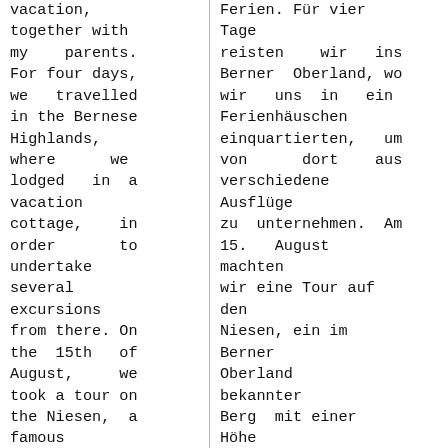vacation, together with my parents. For four days, we travelled in the Bernese Highlands, where we lodged in a vacation cottage, in order to undertake several excursions from there. On the 15th of August, we took a tour on the Niesen, a famous
Ferien. Für vier Tage reisten wir ins Berner Oberland, wo wir uns in ein Ferienhäuschen einquartierten, um von dort aus verschiedene Ausflüge zu unternehmen. Am 15. August machten wir eine Tour auf den Niesen, ein im Berner Oberland bekannter Berg mit einer Höhe von 2362 Metern über Meer. Wie immer hatte ich meine Photokamera dabei, versehen mit einem 500er Teleobjektiv. Da mir